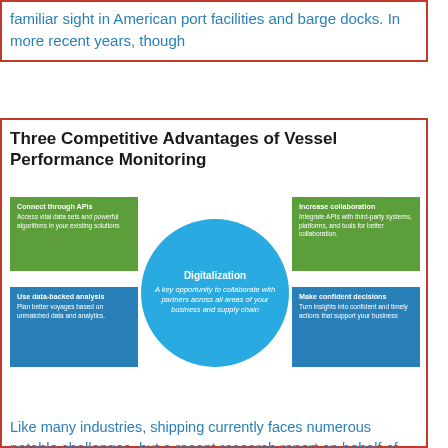familiar sight in American port facilities and barge docks. In more recent years, though
Three Competitive Advantages of Vessel Performance Monitoring
[Figure (infographic): Infographic showing three competitive advantages of vessel performance monitoring arranged around a central blue circle labeled 'Digitalization'. Four boxes (two green, two blue) on left and right describe: Connect through APIs, Use data-backed analysis, Increase collaboration, Make confident decisions. Center circle text: 'A key opportunity to collaborate with partners across all areas of your business and supply chain'.]
Like many industries, shipping currently faces numerous notable challenges, but a recent research report on behalf of DTN revealed longer-term priorities.